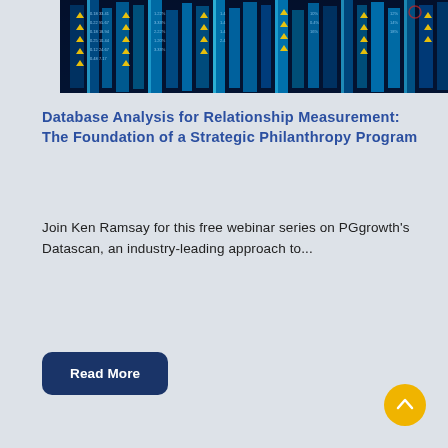[Figure (photo): Stock market data display with glowing blue trading screens showing numbers and triangular indicators]
Database Analysis for Relationship Measurement: The Foundation of a Strategic Philanthropy Program
Join Ken Ramsay for this free webinar series on PGgrowth's Datascan, an industry-leading approach to...
Read More